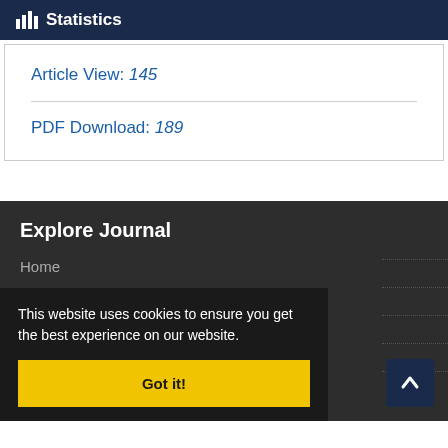Statistics
Article View: 145
PDF Download: 189
Explore Journal
Home
About Journal
Submit Manuscript
Issues
Glossary
This website uses cookies to ensure you get the best experience on our website.
Got it!